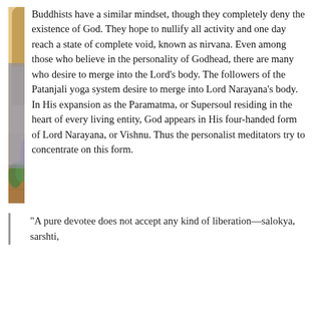[Figure (illustration): A colorful religious painting in the style of Hindu devotional art, showing a divine figure with a golden halo seated on a red ornate couch/throne, extending a hand toward a kneeling devotee in a purple sari, set against an architectural background with arches and floral patterns.]
Buddhists have a similar mindset, though they completely deny the existence of God. They hope to nullify all activity and one day reach a state of complete void, known as nirvana. Even among those who believe in the personality of Godhead, there are many who desire to merge into the Lord's body. The followers of the Patanjali yoga system desire to merge into Lord Narayana's body. In His expansion as the Paramatma, or Supersoul residing in the heart of every living entity, God appears in His four-handed form of Lord Narayana, or Vishnu. Thus the personalist meditators try to concentrate on this form.
"A pure devotee does not accept any kind of liberation—salokya, sarshti,